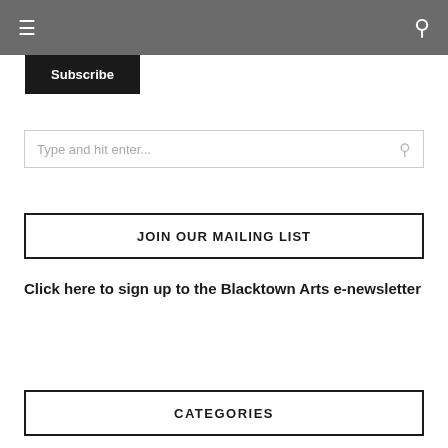☰  🔍
Subscribe
Type and hit enter...
JOIN OUR MAILING LIST
Click here to sign up to the Blacktown Arts e-newsletter
CATEGORIES